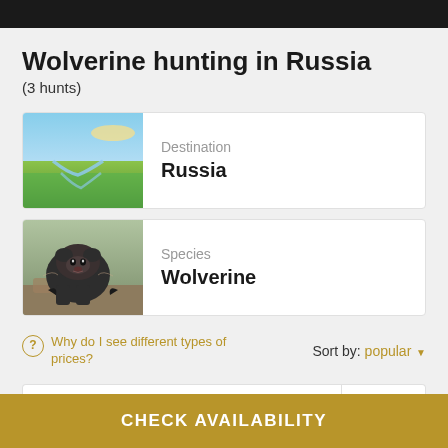Wolverine hunting in Russia
(3 hunts)
[Figure (photo): Landscape photo of a river winding through green fields under a blue sky with sunset light]
Destination
Russia
[Figure (photo): Photo of a wolverine standing on rocky ground, dark fur, looking at camera]
Species
Wolverine
Why do I see different types of prices?
Sort by: popular
Winter Wolverine and Forest Bird
Price from
CHECK AVAILABILITY